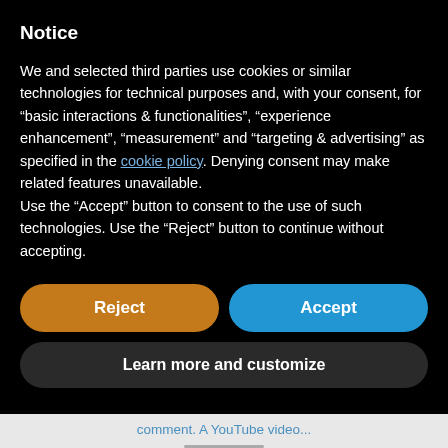Notice
We and selected third parties use cookies or similar technologies for technical purposes and, with your consent, for “basic interactions & functionalities”, “experience enhancement”, “measurement” and “targeting & advertising” as specified in the cookie policy. Denying consent may make related features unavailable.
Use the “Accept” button to consent to the use of such technologies. Use the “Reject” button to continue without accepting.
Reject
Accept
Learn more and customize
comment. A YouTube video...
Retha McPherson’s Message from Another God – (Part...